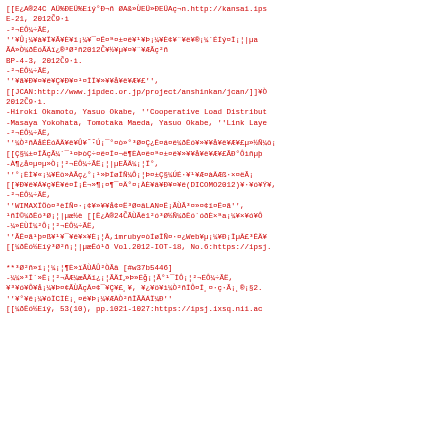[[EcA®24C AÜ%ÐEÜ%Eíý°Ð¬ñ ØA&»ÙEÜ»ÐEÜAç¬n.http://kansai.ips E-21, 2012C¯9·ì
-²¬ÉÔ¼÷ÃË,
''¥Û¡¼¥à¥Ï¥Ã¥È¥ï¡¼¥¯¤Ë¤ª¤±¤ë¥¹¥Þ¡¼¥È¢¥¨¥ë¥®¡¼´ÉÍý¤Î¡¦|µa ÃÁ»Ò¼ðÊóÃÄï¿®³Ø²ñ2012C¯¥½¥µ¥¤¥¨¥ÆÃç²ñ BP-4-3, 2012C¯9·ì.
-²¬ÉÔ¼÷ÃË,
''¥ã¥Ð¥¤¥ë¥Ç¥Ð¥¤¹¤ÎÏ¥»¥¥å¥ê¥Æ¥£'',
[[JCAN:http://www.jipdec.or.jp/project/anshinkan/jcan/]]¥Ò 2012C¯9·ì.
-Hiroki Okamoto, Yasuo Okabe, ''Cooperative Load Distribut -Masaya Yokohata, Tomotaka Maeda, Yasuo Okabe, ''Link Laye -²¬ÉÔ¼÷ÃË,
''¼Ò²ñÂåÉÊóÂÄ¥ê¥Û¥¯ —·Ú¡¯°¤ò»°³Ø¤Ç¿Ê¤á¤ë¼ðÊó¥»¥¥å¥ê¥Æ¥£µ»½Ñ¼ô¡ [[Ç§¼±¤ÎÃçÃ¼´¯¹¤ÞòÇ÷¤ë¤Î¤¬ë¶ÈÀ¤ë¤ª¤±¤ë¥»¥¥å¥ê¥Æ¥£ÃÐ°ÔìñµþÅÃÒ -À¶¿å¤µ¤µ»Ò¡¦²¬ÉÔ¼÷ÃË¡¦|µEÃÄ¼¡¦Ï°,
''°¡ÈÌ¥«¡¼¥Éò»ÀÃç¿°¡¹»ÞÍøÎÑ¼Ô¡¦Þ¤±Ç§¼ÚÉ·¥¹¥Æàà ÂÆß·×¤ëÃ¡ [[¥Ð¥ë¥Á¥ç¥Ê¥é¤Î¡Ê¬»¶¡¤¶¯¤Ä°¤¡ÀÈ¥â¥Ð¥¤¥ë(DICOMO2012)¥·¥ó¥Ý¥, -²¬ÉÔ¼÷ÃË,
''WIMAXÏÖò¤³è ÍÑ¤·¡¢¥»¥¥å¢¤Ë³Ø¤âLAN¤Ë¡ÃÙÃ³¤»¤¢ï¤Ë¤ã'',
¹ñÍ©¼ðÊó³Ø¡¦|µæ½è [[Ê¿À®24C¯ÃÙÃê1²ó³Ø½Ñ¼ðÊó´óðÈ×ªa¡¼¥×¥ó¥Ô
-¼»ÉÙÎ¼²Ô¡¦²¬ÉÔ¼÷ÃË,
''ÃÊ¤ã¹þ¤ß¥¹¥¯¥ê¥×¥È¡¦Â,imruby¤òÍøÎÑ¤·¤¿Web¥µ¡¼¥Ð¡ÎµÂ£³ÊÄ¥ [[¼ðÊó½Eíý³Ø²ñ¡¦|µæÊó¹ð Vol.2012-IOT-18, No.6:https://ipsj.

**³Ø²ñ»ï¡¦¼¡¦¶È»ïÃÙÅÛ²ÒÃâ [#w37b5446]
-¼¼»³Î´»Ê¡¦²¬ÃÆ¼æÃÄï¿¡¦ÃÄÍ˼»Þ»Éǧ¡¦Ã°¹¯ÎÔ¡¦²¬ÉÔ¼÷ÃË,
¥³¥ó¥Ô¥å¡¼¥Þ¤¢ÃÙÃçÂ¤¢¯¥Ç¥£¸¥, ¥¿¥ö¥ì¼Ò²ñÎÔ¤Î¸¤·ç·Ã¡¸®¡§2.
''¥°¥ê¡¼¥óÏCÌÈ¡¸¤ë¥Þ¡¼¥ÆÀÒ²ñÎÃÄÁÏ¼Ð''
[[¼ðÊó½Eíý, 53(10), pp.1021-1027:https://ipsj.ixsq.nii.ac